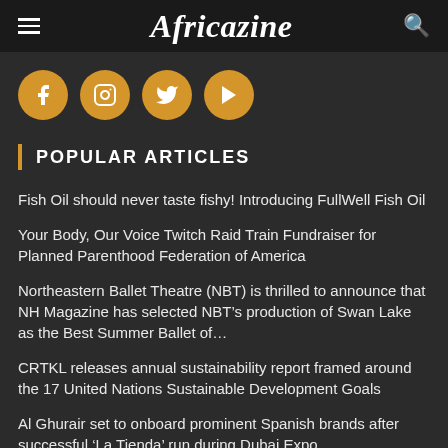Africazine
[Figure (illustration): Four golden circular social media icons: Facebook, Instagram, Twitter, YouTube]
POPULAR ARTICLES
Fish Oil should never taste fishy! Introducing FullWell Fish Oil
Your Body, Our Voice Twitch Raid Train Fundraiser for Planned Parenthood Federation of America
Northeastern Ballet Theatre (NBT) is thrilled to announce that NH Magazine has selected NBT’s production of Swan Lake as the Best Summer Ballet of…
CRTKL releases annual sustainability report framed around the 17 United Nations Sustainable Development Goals
Al Ghurair set to onboard prominent Spanish brands after successful ‘La Tienda’ run during Dubai Expo